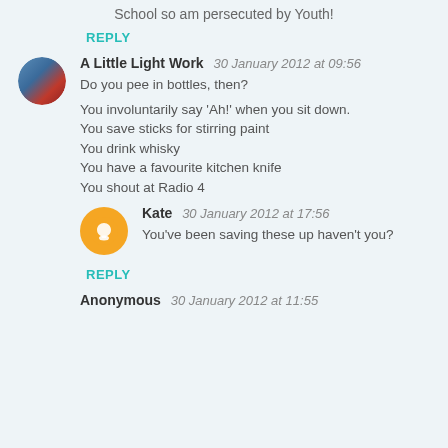School so am persecuted by Youth!
REPLY
A Little Light Work  30 January 2012 at 09:56
Do you pee in bottles, then?

You involuntarily say 'Ah!' when you sit down.
You save sticks for stirring paint
You drink whisky
You have a favourite kitchen knife
You shout at Radio 4
Kate  30 January 2012 at 17:56
You've been saving these up haven't you?
REPLY
Anonymous  30 January 2012 at 11:55